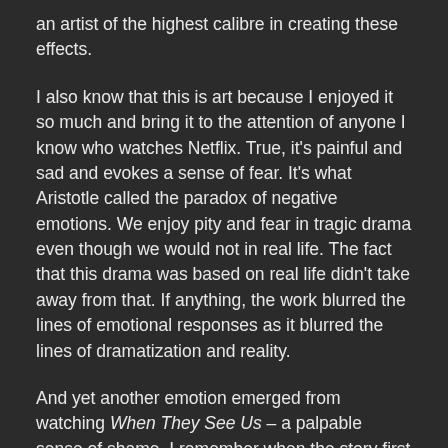an artist of the highest calibre in creating these effects.
I also know that this is art because I enjoyed it so much and bring it to the attention of anyone I know who watches Netflix. True, it's painful and sad and evokes a sense of fear. It's what Aristotle called the paradox of negative emotions. We enjoy pity and fear in tragic drama even though we would not in real life. The fact that this drama was based on real life didn't take away from that. If anything, the work blurred the lines of emotional responses as it blurred the lines of dramatization and reality.
And yet another emotion emerged from watching When They See Us – a palpable sense of shame. I remember when the story first broke. It was April of 1989 and I was still living in Edinburgh. The news story came to me as one of a woman jogger in Central Park in the wrong place at